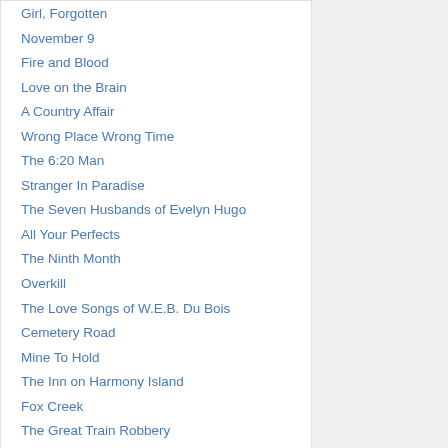Girl, Forgotten
November 9
Fire and Blood
Love on the Brain
A Country Affair
Wrong Place Wrong Time
The 6:20 Man
Stranger In Paradise
The Seven Husbands of Evelyn Hugo
All Your Perfects
The Ninth Month
Overkill
The Love Songs of W.E.B. Du Bois
Cemetery Road
Mine To Hold
The Inn on Harmony Island
Fox Creek
The Great Train Robbery
Little Tangled Webs